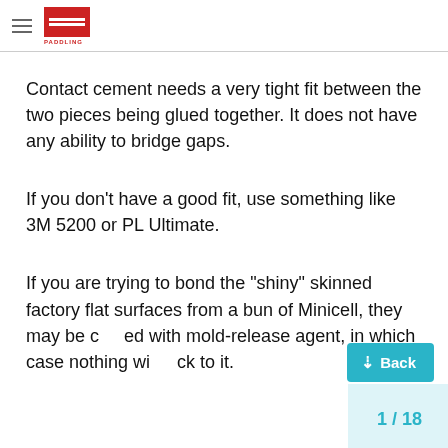PADDLING
Contact cement needs a very tight fit between the two pieces being glued together. It does not have any ability to bridge gaps.
If you don’t have a good fit, use something like 3M 5200 or PL Ultimate.
If you are trying to bond the “shiny” skinned factory flat surfaces from a bun of Minicell, they may be coated with mold-release agent, in which case nothing will stick to it.
1 / 18